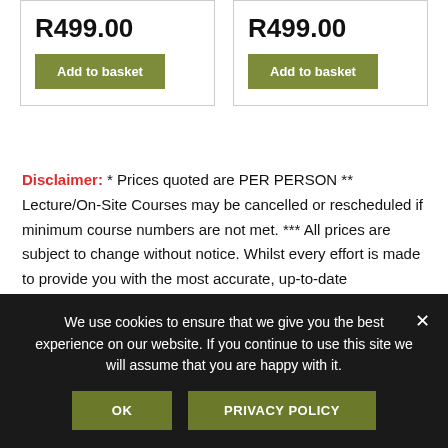R499.00
Add to basket
R499.00
Add to basket
Disclaimer: * Prices quoted are PER PERSON ** Lecture/On-Site Courses may be cancelled or rescheduled if minimum course numbers are not met. *** All prices are subject to change without notice. Whilst every effort is made to provide you with the most accurate, up-to-date information, occasionally an item may be
We use cookies to ensure that we give you the best experience on our website. If you continue to use this site we will assume that you are happy with it.
OK
PRIVACY POLICY